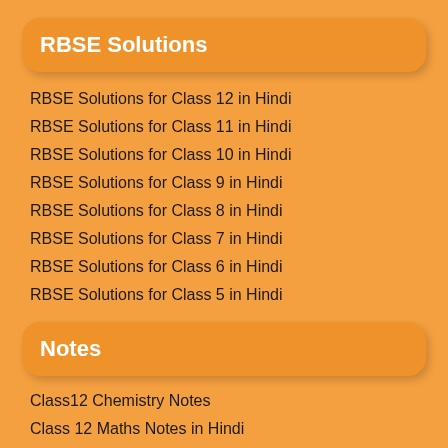RBSE Solutions
RBSE Solutions for Class 12 in Hindi
RBSE Solutions for Class 11 in Hindi
RBSE Solutions for Class 10 in Hindi
RBSE Solutions for Class 9 in Hindi
RBSE Solutions for Class 8 in Hindi
RBSE Solutions for Class 7 in Hindi
RBSE Solutions for Class 6 in Hindi
RBSE Solutions for Class 5 in Hindi
Notes
Class12 Chemistry Notes
Class 12 Maths Notes in Hindi